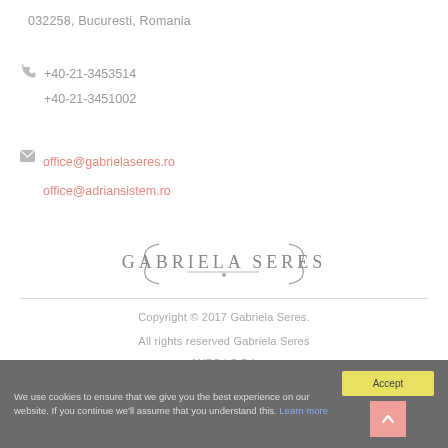032258, Bucuresti, Romania
+40-21-3453514
+40-21-3451002
office@gabrielaseres.ro
office@adriansistem.ro
[Figure (logo): Gabriela Seres brand logo with decorative curved lines and a dot below the text]
Copyright © 2017 Gabriela Seres.
All rights reserved Gabriela Seres
ANPC | S.O.L
We use cookies to ensure that we give you the best experience on our website. If you continue we'll assume that you understand this. Learn more